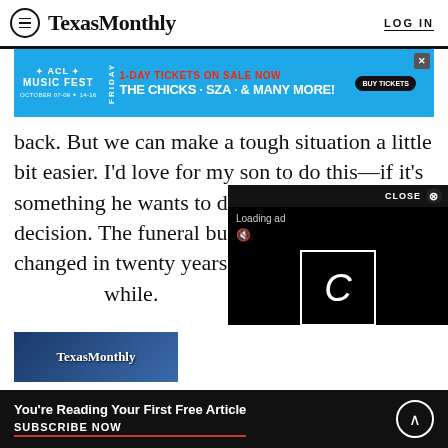TexasMonthly  LOG IN
[Figure (screenshot): ACL Music Fest advertisement banner: blue background with red text '1-DAY TICKETS ON SALE NOW', artists 'THE CHICKS · SZA · & MANY MORE!', BUY TICKETS button, FRIDAY label, October dates]
back. But we can make a tough situation a little bit easier. I'd love for my son to do this—if it's something he wants to do. That'll be his decision. The funeral business will have changed in twenty years, so who knows. He's … while.
[Figure (screenshot): Video overlay ad with black background showing 'CLOSE' button, 'Loading ad' text, mute icon, and spinning loader icon]
[Figure (screenshot): Texas Monthly magazine cover image, partial view at bottom of article]
You're Reading Your First Free Article
SUBSCRIBE NOW